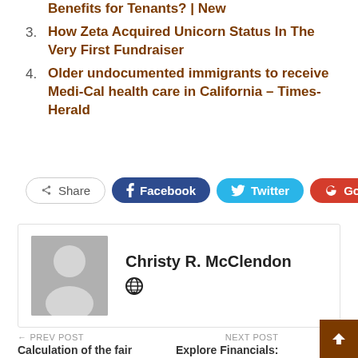Benefits for Tenants? | New
3. How Zeta Acquired Unicorn Status In The Very First Fundraiser
4. Older undocumented immigrants to receive Medi-Cal health care in California – Times-Herald
Share  Facebook  Twitter  Google+  +
Christy R. McClendon
← PREV POST
Calculation of the fair
NEXT POST →
Explore Financials: